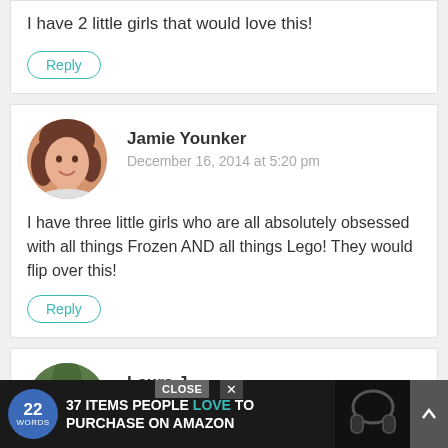I have 2 little girls that would love this!
Reply
Jamie Younker
December 16, 2014 at 5:20 pm
I have three little girls who are all absolutely obsessed with all things Frozen AND all things Lego! They would flip over this!
Reply
[Figure (photo): Circular avatar photo of Jamie Younker, a woman with brown hair, smiling]
Laura J
December 16, 2014 at 5:22 pm
[Figure (photo): Circular avatar photo of Laura J with green/plant background]
Oh I
37 ITEMS PEOPLE LOVE TO PURCHASE ON AMAZON